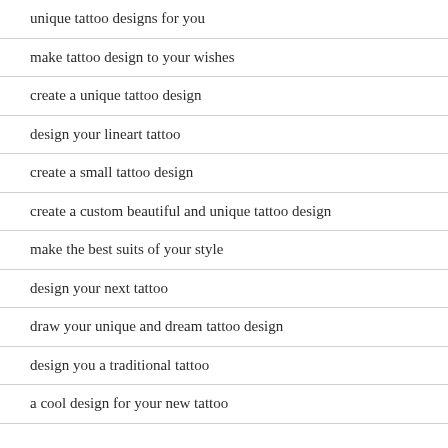unique tattoo designs for you
make tattoo design to your wishes
create a unique tattoo design
design your lineart tattoo
create a small tattoo design
create a custom beautiful and unique tattoo design
make the best suits of your style
design your next tattoo
draw your unique and dream tattoo design
design you a traditional tattoo
a cool design for your new tattoo